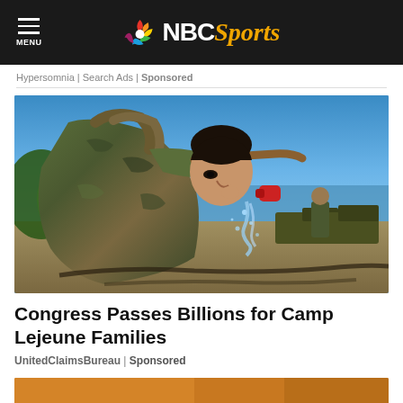MENU | NBC Sports
Hypersomnia | Search Ads | Sponsored
[Figure (photo): A soldier in camouflage uniform drinking from a hose outdoors, with military vehicles and water visible in the background.]
Congress Passes Billions for Camp Lejeune Families
UnitedClaimsBureau | Sponsored
[Figure (photo): Partial bottom image strip showing an orange/warm-toned photo, partially visible.]